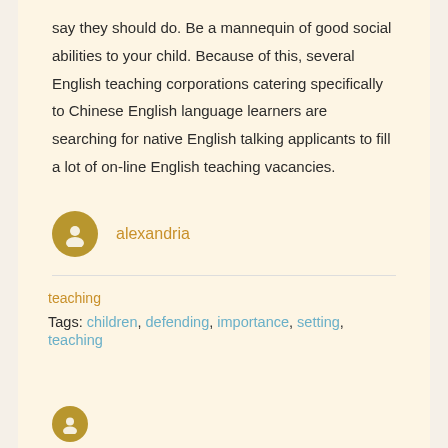say they should do. Be a mannequin of good social abilities to your child. Because of this, several English teaching corporations catering specifically to Chinese English language learners are searching for native English talking applicants to fill a lot of on-line English teaching vacancies.
alexandria
teaching
Tags: children, defending, importance, setting, teaching